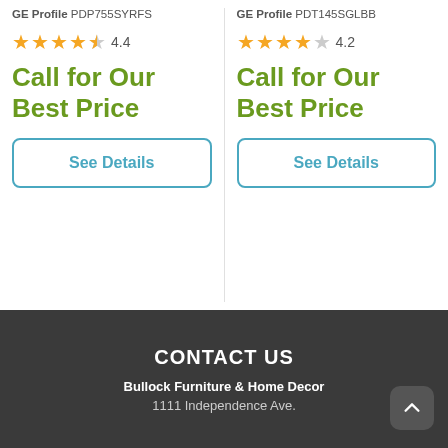GE Profile PDP755SYRFS
4.4 stars
Call for Our Best Price
See Details
GE Profile PDT145SGLBB
4.2 stars
Call for Our Best Price
See Details
CONTACT US
Bullock Furniture & Home Decor
1111 Independence Ave.